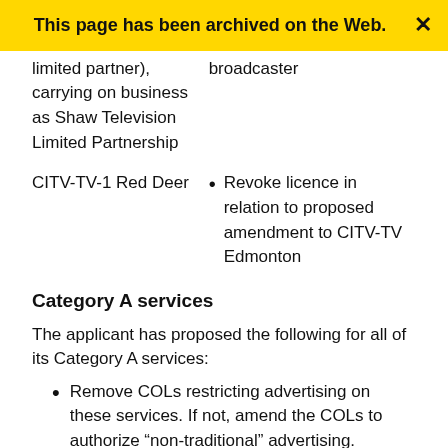This page has been archived on the Web.
| (limited partner), carrying on business as Shaw Television Limited Partnership | broadcaster |
| CITV-TV-1 Red Deer | Revoke licence in relation to proposed amendment to CITV-TV Edmonton |
Category A services
The applicant has proposed the following for all of its Category A services:
Remove COLs restricting advertising on these services. If not, amend the COLs to authorize “non-traditional” advertising.
Adopt standardized COLs with respect to drama programming and the requirements set out in